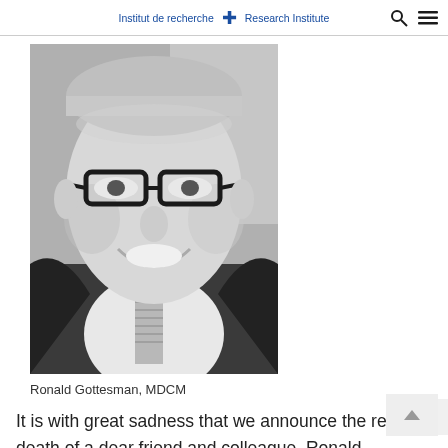Institut de recherche | Research Institute
[Figure (photo): Black and white portrait photograph of Ronald Gottesman, MDCM, a middle-aged man with grey hair wearing glasses, a dark suit jacket, white dress shirt, and a striped tie, smiling at the camera.]
Ronald Gottesman, MDCM
It is with great sadness that we announce the recent death of a dear friend and colleague, Ronald